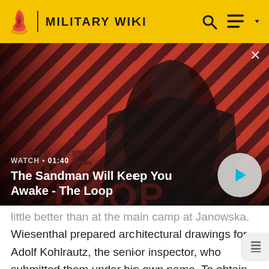MILITARY WIKI
[Figure (screenshot): Video thumbnail showing a dark-cloaked figure with a raven on their shoulder against a red and black diagonal striped background, labeled 'The Loop'. WATCH • 01:40]
The Sandman Will Keep You Awake - The Loop
little better than at the main camp at Janowska. Wiesenthal prepared architectural drawings for Adolf Kohlrautz, the senior inspector, who submitted them under his own name. To obtain contracts, construction companies paid bribes to Kohlrautz, who shared some of the money with Wiesenthal. He was able to pass along